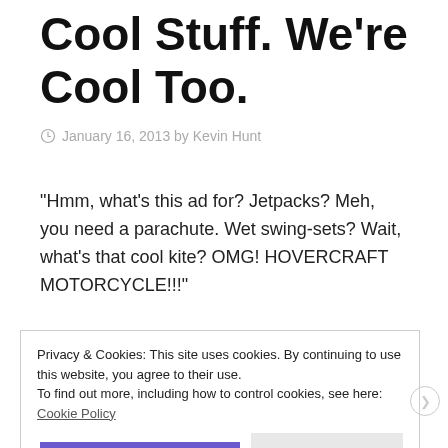Cool Stuff. We're Cool Too.
January 16, 2013 by Kevin Hunt
“Hmm, what’s this ad for? Jetpacks? Meh, you need a parachute. Wet swing-sets? Wait, what’s that cool kite? OMG! HOVERCRAFT MOTORCYCLE!!!”
Privacy & Cookies: This site uses cookies. By continuing to use this website, you agree to their use.
To find out more, including how to control cookies, see here: Cookie Policy